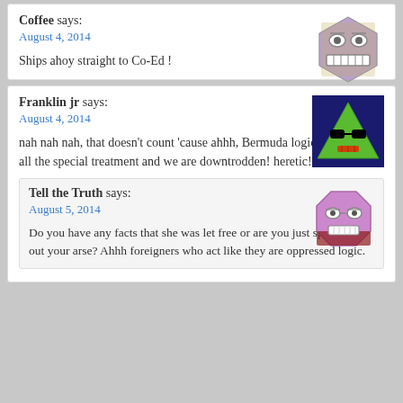Coffee says:
August 4, 2014
Ships ahoy straight to Co-Ed !
[Figure (illustration): Purple hexagon cartoon face with glasses and teeth]
Franklin jr says:
August 4, 2014
nah nah nah, that doesn't count 'cause ahhh, Bermuda logic!! AXpats get all the special treatment and we are downtrodden! heretic!!
[Figure (illustration): Dark blue triangle cartoon face with sunglasses]
Tell the Truth says:
August 5, 2014
Do you have any facts that she was let free or are you just speaking out your arse? Ahhh foreigners who act like they are oppressed logic.
[Figure (illustration): Pink/purple octagon cartoon face with glasses and grin]